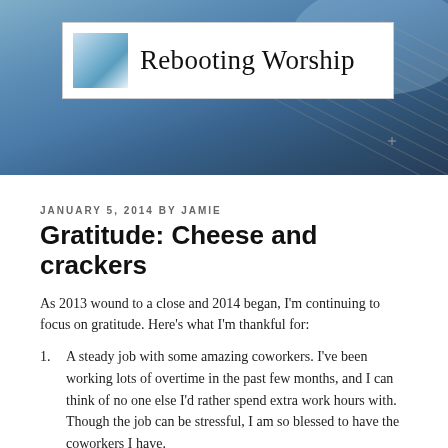[Figure (illustration): Blog header banner with blue sky and building/church roof in background, with white overlay box containing blue gradient square logo and 'Rebooting Worship' text in serif font]
JANUARY 5, 2014 BY JAMIE
Gratitude: Cheese and crackers
As 2013 wound to a close and 2014 began, I'm continuing to focus on gratitude. Here's what I'm thankful for:
A steady job with some amazing coworkers. I've been working lots of overtime in the past few months, and I can think of no one else I'd rather spend extra work hours with. Though the job can be stressful, I am so blessed to have the coworkers I have.
A chance to make extra money. As much as I don't like